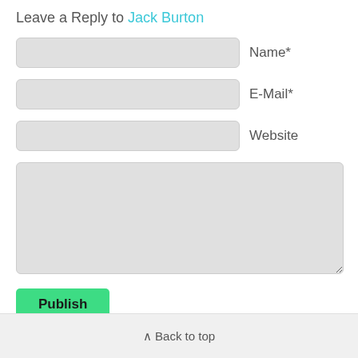Leave a Reply to Jack Burton
Name*
E-Mail*
Website
Publish
↑ Back to top